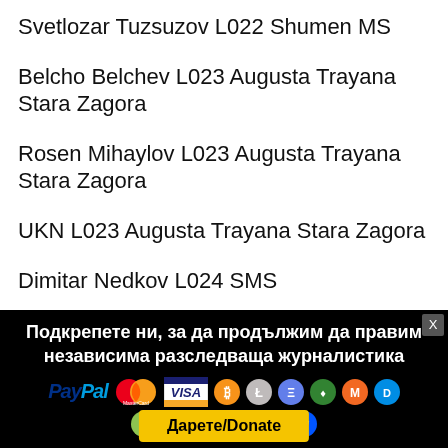Svetlozar Tuzsuzov L022 Shumen MS
Belcho Belchev L023 Augusta Trayana Stara Zagora
Rosen Mihaylov L023 Augusta Trayana Stara Zagora
UKN L023 Augusta Trayana Stara Zagora
Dimitar Nedkov L024 SMS
Ivan Geshev L024 S
[Figure (infographic): Black donation banner with Bulgarian text 'Подкрепете ни, за да продължим да правим независима разследваща журналистика', payment logos (PayPal, MasterCard, Visa, Bitcoin and other cryptocurrency icons), and a yellow Дарете/Donate button.]